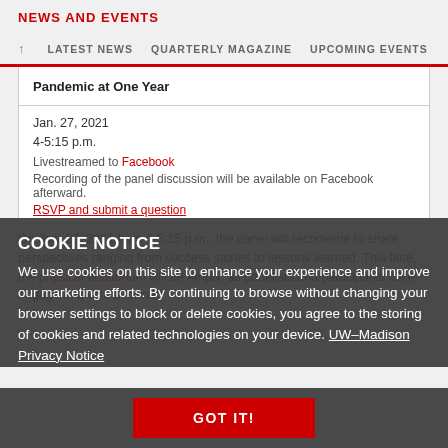NEWS AND EVENTS
LATEST NEWS   QUARTERLY MAGAZINE   UPCOMING EVENTS
Pandemic at One Year
Jan. 27, 2021
4-5:15 p.m.
Livestreamed to Facebook
Recording of the panel discussion will be available on Facebook afterward.
RSVP and submit a question
On Jan. 27, 2021 from 4-5:15 p.m., the panel will reconvene to share perspectives ranging from success stories to lessons learned. This time, the physical auditorium will be empty, as panelists and participants alike engage in a virtual format
COOKIE NOTICE
We use cookies on this site to enhance your experience and improve our marketing efforts. By continuing to browse without changing your browser settings to block or delete cookies, you agree to the storing of cookies and related technologies on your device. UW–Madison Privacy Notice
GOT IT!